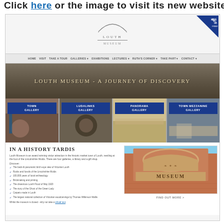Click here or the image to visit its new website.
[Figure (screenshot): Screenshot of the Louth Museum website showing its homepage with logo, navigation bar, hero banner reading 'Louth Museum - A Journey of Discovery', four gallery tiles (Town Gallery, Ludalinks Gallery, Panorama Gallery, Town Mezzanine Gallery), and lower content section with 'In a History Tardis' heading, body text, bullet list of attractions, and a photo of the museum building facade.]
IN A HISTORY TARDIS
Louth Museum is an award winning visitor attraction in the historic market town of Louth, nestling at the foot of the Lincolnshire Wolds. There are four galleries, a library and a gift shop.
Discover:
The back-lit panoramic bird's-eye view of Victorian Louth
Rocks and fossils of the Lincolnshire Wolds
100,000 years of local archaeology
Brickmaking and printing
The disastrous Louth Flood of May 1920
The story of the Ghost of the Green Lady
Carpets made in Louth
The largest national collection of Victorian woodcarvings by Thomas Wilkinson Wallis
Whilst the museum is closed - why not take a virtual tour.
FIND OUT MORE >